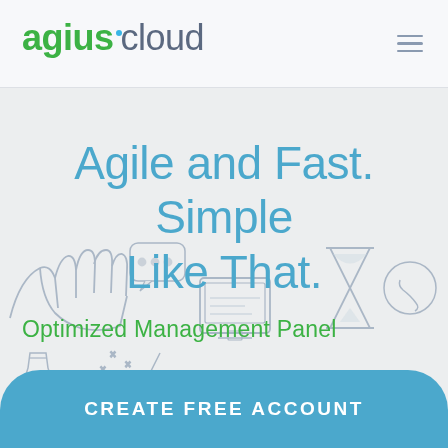[Figure (logo): agiuscloud logo with green 'agius' text and grey 'cloud' text, with a small blue dot above the letter i]
Agile and Fast. Simple Like That.
Optimized Management Panel
[Figure (illustration): Light line-art illustration of various business/technology icons: hand, chat bubble, computer monitor, hourglass, phone, and other icons on a light grey background]
CREATE FREE ACCOUNT